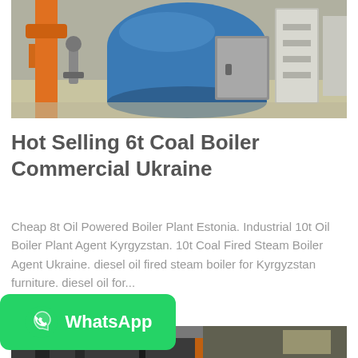[Figure (photo): Industrial boiler equipment in a factory setting. Shows large cylindrical blue boiler with orange support column and stainless steel enclosures/panels in background.]
Hot Selling 6t Coal Boiler Commercial Ukraine
Cheap 8t Oil Powered Boiler Plant Estonia. Industrial 10t Oil Boiler Plant Agent Kyrgyzstan. 10t Coal Fired Steam Boiler Agent Ukraine. diesel oil fired steam boiler for Kyrgyzstan furniture. diesel oil for...
[Figure (screenshot): Get Price button (blue) partially visible behind WhatsApp button]
[Figure (photo): Bottom portion of another industrial boiler image, partially cropped.]